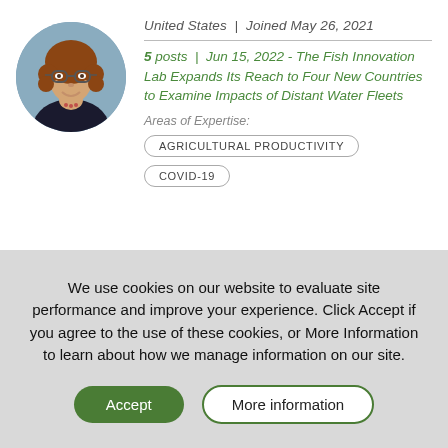[Figure (photo): Circular profile photo of a woman with curly hair and glasses, wearing a dark jacket]
United States | Joined May 26, 2021
5 posts | Jun 15, 2022 - The Fish Innovation Lab Expands Its Reach to Four New Countries to Examine Impacts of Distant Water Fleets
Areas of Expertise:
AGRICULTURAL PRODUCTIVITY
COVID-19
We use cookies on our website to evaluate site performance and improve your experience. Click Accept if you agree to the use of these cookies, or More Information to learn about how we manage information on our site.
Accept
More information